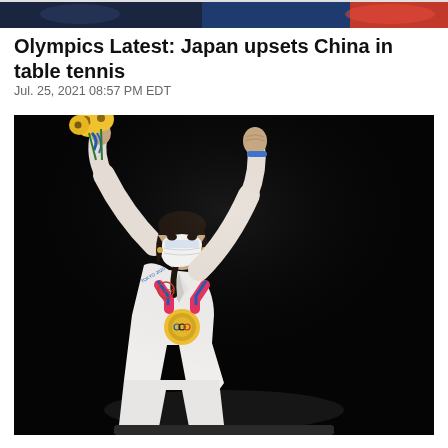[Figure (photo): Top banner image strip showing partial images, dark blue on left side and red on right side]
Olympics Latest: Japan upsets China in table tennis
Jul. 25, 2021 08:57 PM EDT
[Figure (photo): Athlete wearing white jacket and mask, with gold medal and blue Olympic ribbon around neck, holding yellow sunflowers bouquet in left hand raised high, right fist raised, celebrating against black background at Tokyo 2020 Olympics]